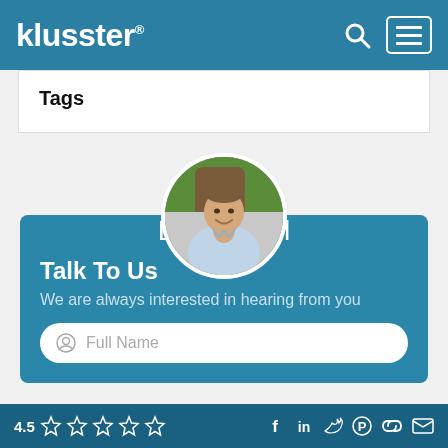klusster®
Tags
[Figure (photo): Circular profile photo of Eric Model, a middle-aged man in a light blue shirt, photographed outdoors with trees in the background]
Eric Model
Talk To Us
We are always interested in hearing from you
Full Name
4.5 ☆☆☆☆☆